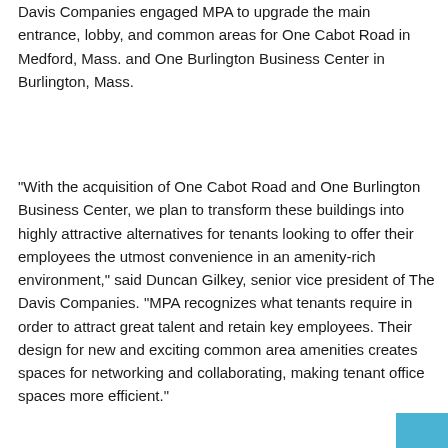Davis Companies engaged MPA to upgrade the main entrance, lobby, and common areas for One Cabot Road in Medford, Mass. and One Burlington Business Center in Burlington, Mass.
“With the acquisition of One Cabot Road and One Burlington Business Center, we plan to transform these buildings into highly attractive alternatives for tenants looking to offer their employees the utmost convenience in an amenity-rich environment,” said Duncan Gilkey, senior vice president of The Davis Companies. “MPA recognizes what tenants require in order to attract great talent and retain key employees. Their design for new and exciting common area amenities creates spaces for networking and collaborating, making tenant office spaces more efficient.”